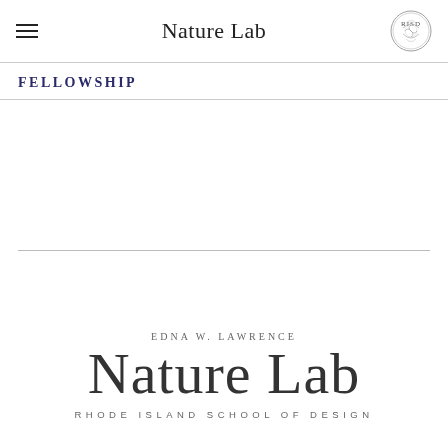Nature Lab
FELLOWSHIP
[Figure (logo): Edna W. Lawrence Nature Lab, Rhode Island School of Design wordmark logo with large serif 'Nature Lab' text, 'EDNA W. LAWRENCE' above and 'RHODE ISLAND SCHOOL OF DESIGN' below]